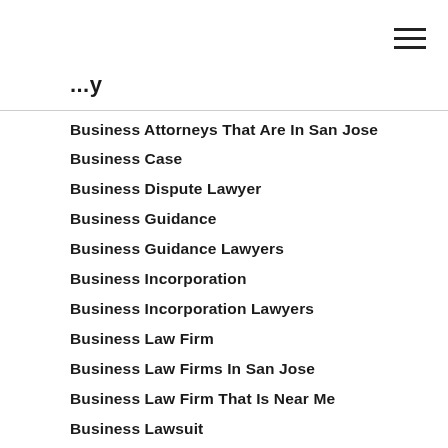...y
Business Attorneys That Are In San Jose
Business Case
Business Dispute Lawyer
Business Guidance
Business Guidance Lawyers
Business Incorporation
Business Incorporation Lawyers
Business Law Firm
Business Law Firms In San Jose
Business Law Firm That Is Near Me
Business Lawsuit
Business Lawyer
Business Lawyer I Can Call
Business Lawyers
Business Lawyers Located Near Me
Business Marketing Lawyers